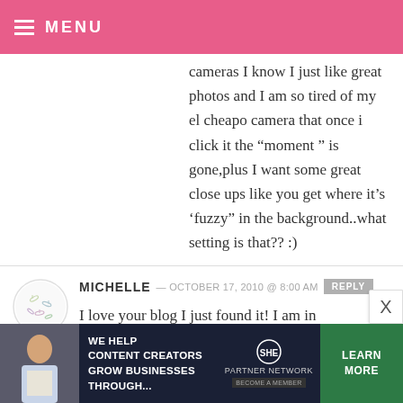MENU
cameras I know I just like great photos and I am so tired of my el cheapo camera that once i click it the “moment ” is gone,plus I want some great close ups like you get where it’s ‘fuzzy” in the background..what setting is that?? :)
MICHELLE — OCTOBER 17, 2010 @ 8:00 AM
I love your blog I just found it! I am in